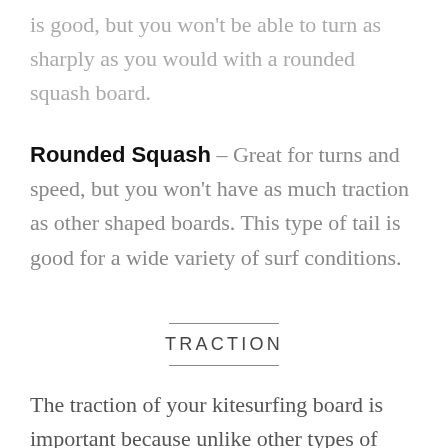is good, but you won't be able to turn as sharply as you would with a rounded squash board.
Rounded Squash – Great for turns and speed, but you won't have as much traction as other shaped boards. This type of tail is good for a wide variety of surf conditions.
TRACTION
The traction of your kitesurfing board is important because unlike other types of boards, you won't have anything locking